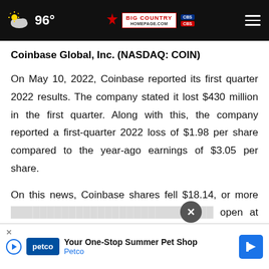96° Big Country Homepage.com
Coinbase Global, Inc. (NASDAQ: COIN)
On May 10, 2022, Coinbase reported its first quarter 2022 results. The company stated it lost $430 million in the first quarter. Along with this, the company reported a first-quarter 2022 loss of $1.98 per share compared to the year-ago earnings of $3.05 per share.
On this news, Coinbase shares fell $18.14, or more than in premarket trading to open at $5...